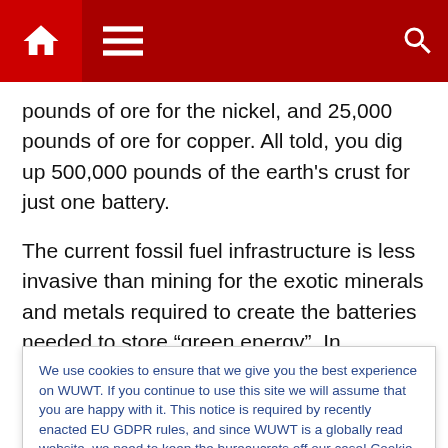Navigation bar with home, menu, and search icons
pounds of ore for the nickel, and 25,000 pounds of ore for copper. All told, you dig up 500,000 pounds of the earth's crust for just one battery.
The current fossil fuel infrastructure is less invasive than mining for the exotic minerals and metals required to create the batteries needed to store “green energy”. In developing countries, these mining operations exploit child labor, and are responsible for the most egregious human rights’ violations of vulnerable minority
We use cookies to ensure that we give you the best experience on WUWT. If you continue to use this site we will assume that you are happy with it. This notice is required by recently enacted EU GDPR rules, and since WUWT is a globally read website, we need to keep the bureaucrats off our case! Cookie Policy
Close and accept